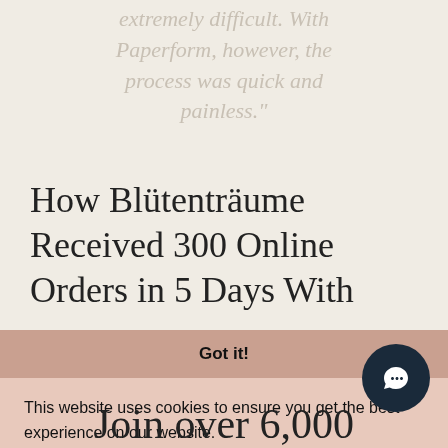extremely difficult. With Paperform, however, the process was quick and painless."
How Blütenträume Received 300 Online Orders in 5 Days With
Got it!
This website uses cookies to ensure you get the best experience on our website. Learn more
Join over 6,000